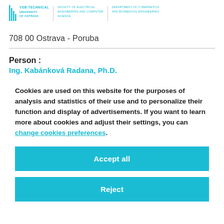VSB TECHNICAL UNIVERSITY OF OSTRAVA | FACULTY OF ELECTRICAL ENGINEERING AND COMPUTER SCIENCE | DEPARTMENT OF CYBERNETICS AND BIOMEDICAL ENGINEERING
708 00 Ostrava - Poruba
Person :
Ing. Kabánková Radana, Ph.D.
Cookies are used on this website for the purposes of analysis and statistics of their use and to personalize their function and display of advertisements. If you want to learn more about cookies and adjust their settings, you can change cookies preferences.
Accept all
Reject